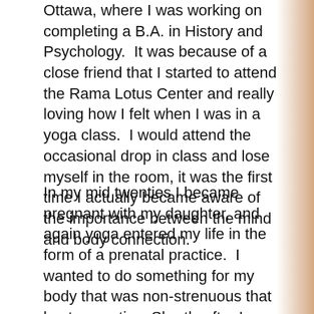Ottawa, where I was working on completing a B.A. in History and Psychology.  It was because of a close friend that I started to attend the Rama Lotus Center and really loving how I felt when I was in a yoga class.  I would attend the occasional drop in class and lose myself in the room, it was the first time I actually became aware of the importance between the mind and body connection.
In my mid twenties I became pregnant with my daughter, and again yoga entered my life in the form of a prenatal practice.  I wanted to do something for my body that was non-strenuous that kept me active. Shortly after I moved to Lindsay and was introduced to The Yoga Loft and immediately feel in love with the space and the teachers that were there.  I always said to myself during this time that it would be truly amazing to be